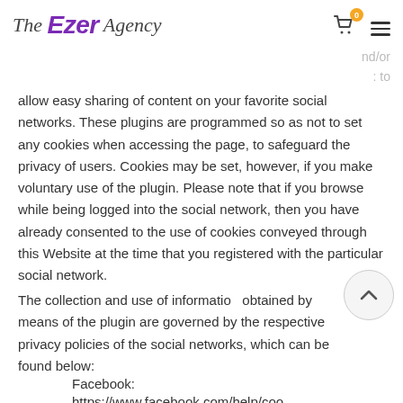The Ezer Agency [navigation header with logo, cart, and hamburger menu]
nd/or
: to
allow easy sharing of content on your favorite social networks. These plugins are programmed so as not to set any cookies when accessing the page, to safeguard the privacy of users. Cookies may be set, however, if you make voluntary use of the plugin. Please note that if you browse while being logged into the social network, then you have already consented to the use of cookies conveyed through this Website at the time that you registered with the particular social network.
The collection and use of information obtained by means of the plugin are governed by the respective privacy policies of the social networks, which can be found below:
Facebook:
https://www.facebook.com/help/coo